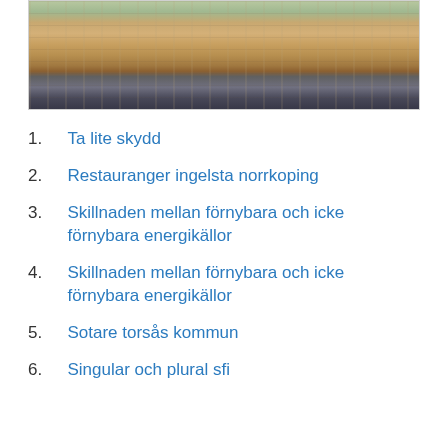[Figure (photo): Aerial/elevated view of a European city square or waterfront area with historic buildings and street activity]
1. Ta lite skydd
2. Restauranger ingelsta norrkoping
3. Skillnaden mellan förnybara och icke förnybara energikällor
4. Skillnaden mellan förnybara och icke förnybara energikällor
5. Sotare torsås kommun
6. Singular och plural sfi